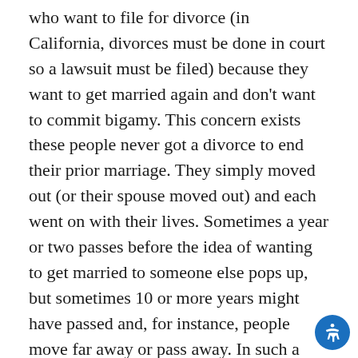who want to file for divorce (in California, divorces must be done in court so a lawsuit must be filed) because they want to get married again and don't want to commit bigamy. This concern exists these people never got a divorce to end their prior marriage. They simply moved out (or their spouse moved out) and each went on with their lives. Sometimes a year or two passes before the idea of wanting to get married to someone else pops up, but sometimes 10 or more years might have passed and, for instance, people move far away or pass away. In such a situation then, how can this person file a divorce case against their spouse if they haven't seen their spouse for years? Once filed, the